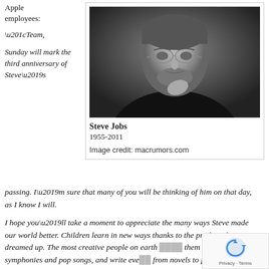Apple employees:
[Figure (photo): Black and white portrait photo of Steve Jobs with caption 'Steve Jobs 1955-2011' and image credit: macrumors.com]
“Team,

Sunday will mark the third anniversary of Steve’s passing. I’m sure that many of you will be thinking of him on that day, as I know I will.

I hope you’ll take a moment to appreciate the many ways Steve made our world better. Children learn in new ways thanks to the products he dreamed up. The most creative people on earth use them to compose symphonies and pop songs, and write everything from novels to poetry to text messages. Steve’s life’s work produced